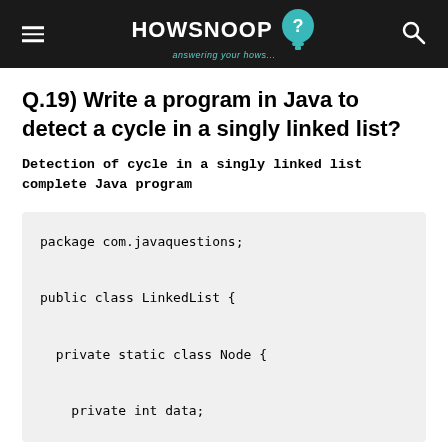HOWSNOOP answering your hows...
Q.19) Write a program in Java to detect a cycle in a singly linked list?
Detection of cycle in a singly linked list complete Java program
package com.javaquestions;

public class LinkedList {

  private static class Node {

    private int data;